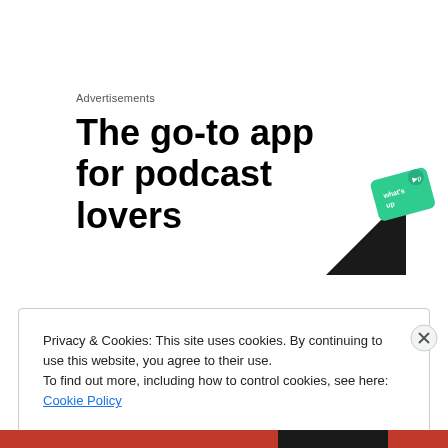Advertisements
The go-to app for podcast lovers
[Figure (illustration): Podcast app advertisement image showing a dark triangular shape and a green card with 'what's up' text]
Privacy & Cookies: This site uses cookies. By continuing to use this website, you agree to their use.
To find out more, including how to control cookies, see here: Cookie Policy
Close and accept